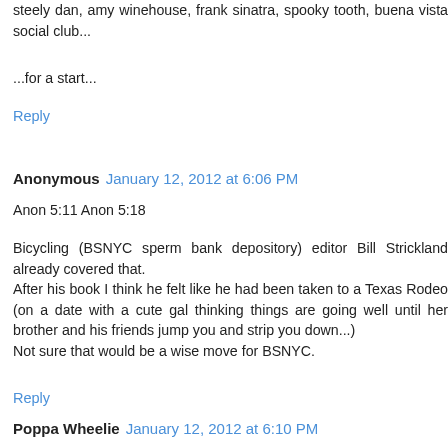steely dan, amy winehouse, frank sinatra, spooky tooth, buena vista social club...
...for a start...
Reply
Anonymous  January 12, 2012 at 6:06 PM
Anon 5:11 Anon 5:18
Bicycling (BSNYC sperm bank depository) editor Bill Strickland already covered that.
After his book I think he felt like he had been taken to a Texas Rodeo (on a date with a cute gal thinking things are going well until her brother and his friends jump you and strip you down...)
Not sure that would be a wise move for BSNYC.
Reply
Poppa Wheelie  January 12, 2012 at 6:10 PM